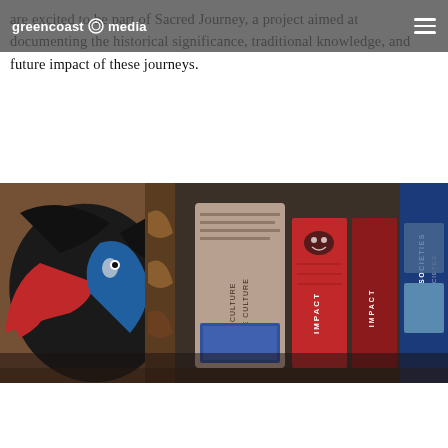greencoast media
are excited to be part of Sacred Journey, a project aimed at documenting the historical significance, traditional knowledge, and future impact of these journeys.
[Figure (photo): Museum exhibit display showing Indigenous Northwest Coast art including a large carved bird mask in red, black and blue, display panels reading 'OUR CULTURE NO RE CULTURE', 'IMPACT', 'IMPACT IMPACT', and 'THRIVING SOCIETIES / LES SOCIETES', in a dimly lit gallery setting.]